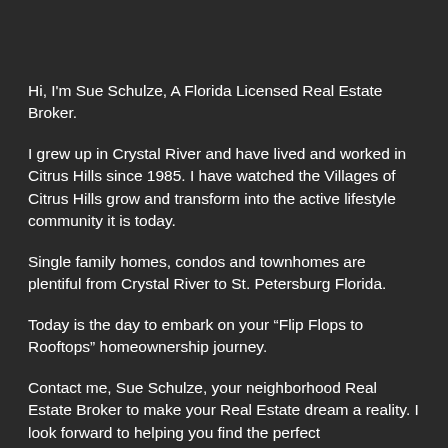Hi, I'm Sue Schulze, A Florida Licensed Real Estate Broker.
I grew up in Crystal River and have lived and worked in Citrus Hills since 1985. I have watched the Villages of Citrus Hills grow and transform into the active lifestyle community it is today.
Single family homes, condos and townhomes are plentiful from Crystal River to St. Petersburg Florida.
Today is the day to embark on your “Flip Flops to Rooftops” homeownership journey.
Contact me, Sue Schulze, your neighborhood Real Estate Broker to make your Real Estate dream a reality. I look forward to helping you find the perfect